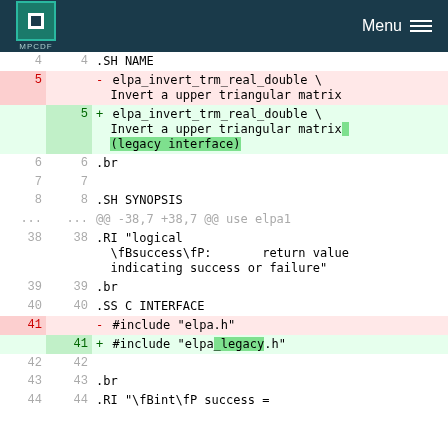MPCDF  Menu
| old | new | code |
| --- | --- | --- |
| 4 | 4 | .SH NAME |
| 5 |  | - elpa_invert_trm_real_double \
Invert a upper triangular matrix |
|  | 5 | + elpa_invert_trm_real_double \
Invert a upper triangular matrix (legacy interface) |
| 6 | 6 | .br |
| 7 | 7 |  |
| 8 | 8 | .SH SYNOPSIS |
| ... | ... | @@ -38,7 +38,7 @@ use elpa1 |
| 38 | 38 | .RI "logical
\fBsuccess\fP:      return value indicating success or failure" |
| 39 | 39 | .br |
| 40 | 40 | .SS C INTERFACE |
| 41 |  | - #include "elpa.h" |
|  | 41 | + #include "elpa_legacy.h" |
| 42 | 42 |  |
| 43 | 43 | .br |
| 44 | 44 | .RI "\fBint\fP success = |